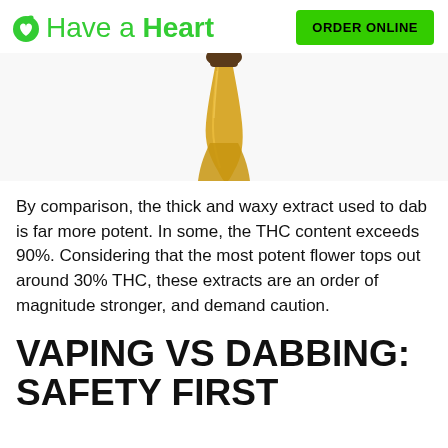Have a Heart | ORDER ONLINE
[Figure (photo): Close-up photo of golden/amber cannabis concentrate or extract dripping, showing thick waxy texture against white background]
By comparison, the thick and waxy extract used to dab is far more potent. In some, the THC content exceeds 90%. Considering that the most potent flower tops out around 30% THC, these extracts are an order of magnitude stronger, and demand caution.
VAPING VS DABBING: SAFETY FIRST